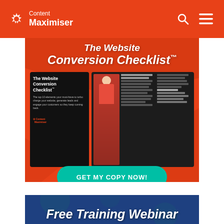[Figure (logo): Content Maximiser logo with gear icon, white text on red background header]
[Figure (infographic): The Website Conversion Checklist promotional banner. Red background with italic bold white title 'The Website Conversion Checklist™'. Shows open book/checklist with a woman in red dress. Teal 'GET MY COPY NOW!' call-to-action button.]
[Figure (infographic): Free Training Webinar promotional banner with dark blue background and bold italic white text 'Free Training Webinar']